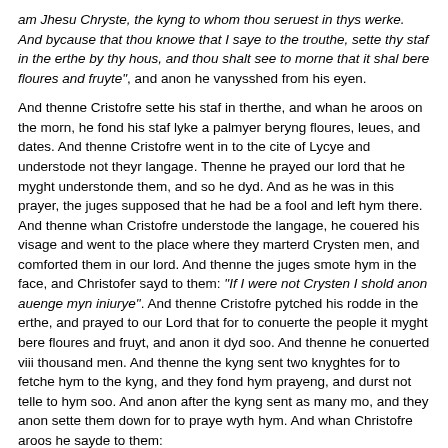am Jhesu Chryste, the kyng to whom thou seruest in thys werke. And bycause that thou knowe that I saye to the trouthe, sette thy staf in the erthe by thy hous, and thou shalt see to morne that it shal bere floures and fruyte", and anon he vanysshed from his eyen.
And thenne Cristofre sette his staf in therthe, and whan he aroos on the morn, he fond his staf lyke a palmyer beryng floures, leues, and dates. And thenne Cristofre went in to the cite of Lycye and understode not theyr langage. Thenne he prayed our lord that he myght understonde them, and so he dyd. And as he was in this prayer, the juges supposed that he had be a fool and left hym there. And thenne whan Cristofre understode the langage, he couered his visage and went to the place where they marterd Crysten men, and comforted them in our lord. And thenne the juges smote hym in the face, and Christofer sayd to them: “If I were not Crysten I shold anon auenge myn iniurye”. And thenne Cristofre pytched his rodde in the erthe, and prayed to our Lord that for to conuerte the people it myght bere floures and fruyt, and anon it dyd soo. And thenne he conuerted viii thousand men. And thenne the kyng sent two knyghtes for to fetche hym to the kyng, and they fond hym prayeng, and durst not telle to hym soo. And anon after the kyng sent as many mo, and they anon sette them down for to praye wyth hym. And whan Christofre aroos he sayde to them: